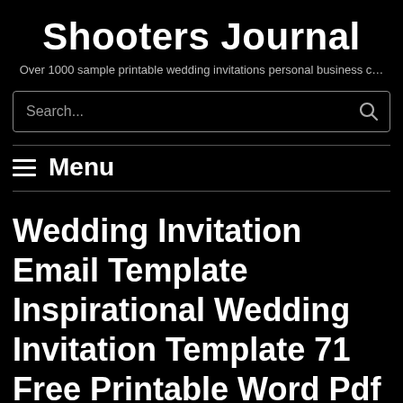Shooters Journal
Over 1000 sample printable wedding invitations personal business c…
[Figure (other): Search input box with search icon]
≡ Menu
Wedding Invitation Email Template Inspirational Wedding Invitation Template 71 Free Printable Word Pdf